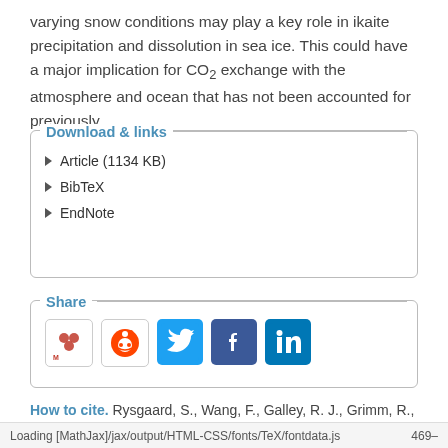varying snow conditions may play a key role in ikaite precipitation and dissolution in sea ice. This could have a major implication for CO₂ exchange with the atmosphere and ocean that has not been accounted for previously.
Download & links
Article (1134 KB)
BibTeX
EndNote
Share
[Figure (infographic): Social sharing icons: Mendeley, Reddit, Twitter, Facebook, LinkedIn]
How to cite. Rysgaard, S., Wang, F., Galley, R. J., Grimm, R., Notz, D., Lemes, M., Geilfus, N.-X., Chaulk, A., Hare, A. A., Crabeck, O., Else, B. G. T., Campbell, K., Sørensen, L. L., Sievers, J., and Papakyriakou, T.: Temporal dynamics of
Loading [MathJax]/jax/output/HTML-CSS/fonts/TeX/fontdata.js    469–